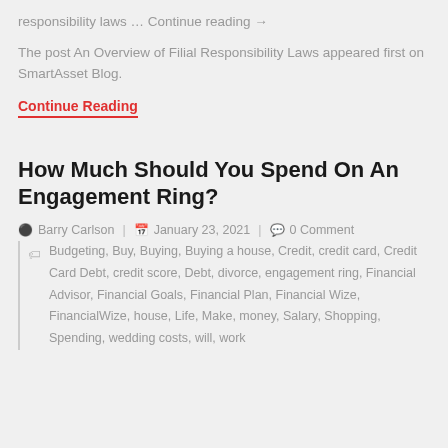responsibility laws … Continue reading →
The post An Overview of Filial Responsibility Laws appeared first on SmartAsset Blog.
Continue Reading
How Much Should You Spend On An Engagement Ring?
Barry Carlson | January 23, 2021 | 0 Comment
Budgeting, Buy, Buying, Buying a house, Credit, credit card, Credit Card Debt, credit score, Debt, divorce, engagement ring, Financial Advisor, Financial Goals, Financial Plan, Financial Wize, FinancialWize, house, Life, Make, money, Salary, Shopping, Spending, wedding costs, will, work